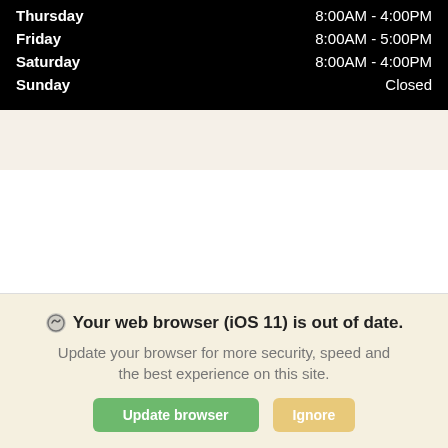| Day | Hours |
| --- | --- |
| Thursday | 8:00AM - 4:00PM |
| Friday | 8:00AM - 5:00PM |
| Saturday | 8:00AM - 4:00PM |
| Sunday | Closed |
Your web browser (iOS 11) is out of date. Update your browser for more security, speed and the best experience on this site.